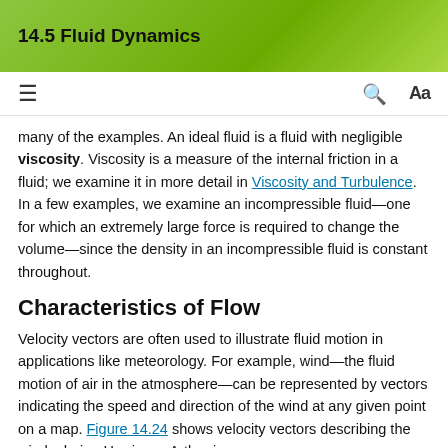14.5 Fluid Dynamics
many of the examples. An ideal fluid is a fluid with negligible viscosity. Viscosity is a measure of the internal friction in a fluid; we examine it in more detail in Viscosity and Turbulence. In a few examples, we examine an incompressible fluid—one for which an extremely large force is required to change the volume—since the density in an incompressible fluid is constant throughout.
Characteristics of Flow
Velocity vectors are often used to illustrate fluid motion in applications like meteorology. For example, wind—the fluid motion of air in the atmosphere—can be represented by vectors indicating the speed and direction of the wind at any given point on a map. Figure 14.24 shows velocity vectors describing the winds during Hurricane Arthur in